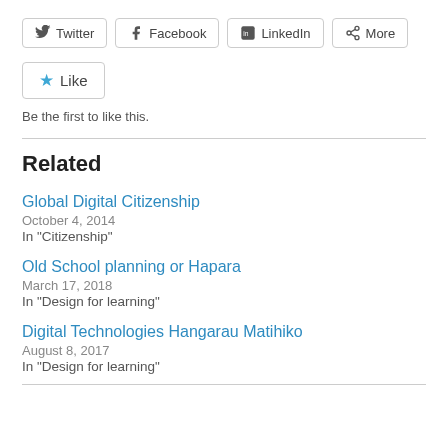[Figure (other): Social share buttons: Twitter, Facebook, LinkedIn, More]
[Figure (other): Like button with star icon]
Be the first to like this.
Related
Global Digital Citizenship
October 4, 2014
In "Citizenship"
Old School planning or Hapara
March 17, 2018
In "Design for learning"
Digital Technologies Hangarau Matihiko
August 8, 2017
In "Design for learning"